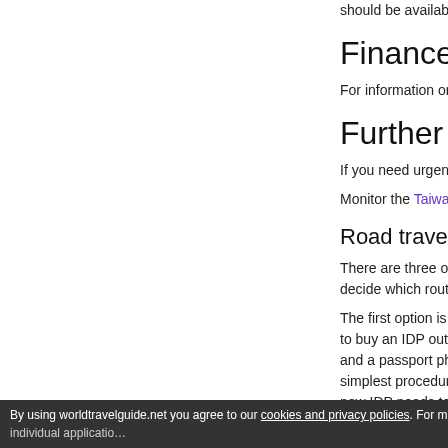should be available fr…
Finance
For information on fi…
Further infor…
If you need urgent co…
Monitor the Taiwan C…
Road travel
There are three optio… decide which route is…
The first option is to c… to buy an IDP outside… and a passport photo… simplest procedure a… new IDP needs to be…
The second option is … using the Licence Exc… to provide the relevan… to the DVLA by the Ta… as a visitor for up to 1…
By using worldtravelguide.net you agree to our cookies and privacy policies. For m… individual applicatio…